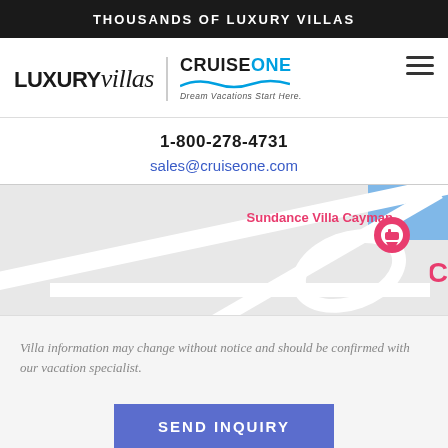THOUSANDS OF LUXURY VILLAS
[Figure (logo): LUXURYvillas | CruiseOne Dream Vacations logo with hamburger menu icon]
1-800-278-4731
sales@cruiseone.com
[Figure (map): Google Maps screenshot showing Sundance Villa Cayman location pin]
Villa information may change without notice and should be confirmed with our vacation specialist.
SEND INQUIRY